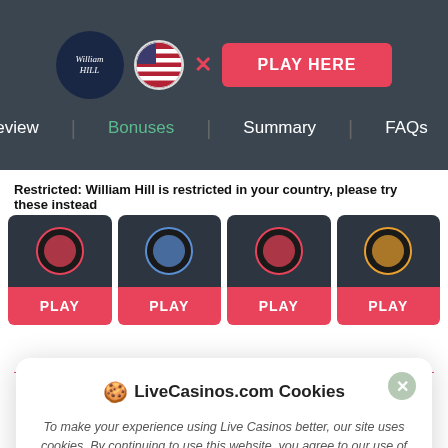[Figure (screenshot): William Hill logo dark circle with italic text, US flag circle, red X mark, and pink PLAY HERE button on dark header bar with navigation links: Review, Bonuses (green/active), Summary, FAQs]
Restricted: William Hill is restricted in your country, please try these instead
[Figure (screenshot): Four casino card thumbnails each with dark background, circular logo, and red PLAY button below]
[Figure (screenshot): Cookie consent modal: LiveCasinos.com Cookies - To make your experience using Live Casinos better, our site uses cookies. By continuing to use this website, you agree to our use of cookies, which is further described in our Cookie Policy. Accept button.]
iOS Apple